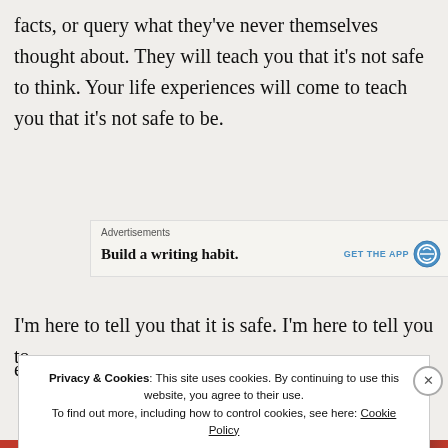facts, or query what they've never themselves thought about. They will teach you that it's not safe to think. Your life experiences will come to teach you that it's not safe to be.
Advertisements
Build a writing habit. GET THE APP
I'm here to tell you that it is safe. I'm here to tell you to
Privacy & Cookies: This site uses cookies. By continuing to use this website, you agree to their use.
To find out more, including how to control cookies, see here: Cookie Policy
Close and accept